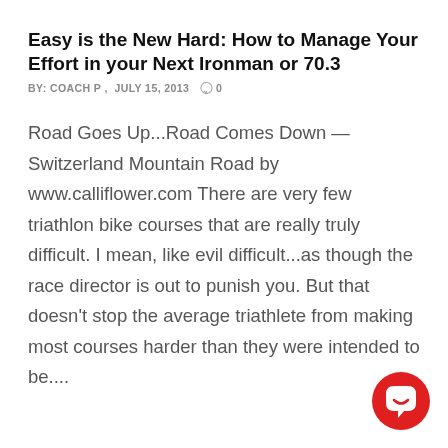Easy is the New Hard: How to Manage Your Effort in your Next Ironman or 70.3
BY: COACH P ,  JULY 15, 2013  ○ 0
Road Goes Up...Road Comes Down — Switzerland Mountain Road by www.calliflower.com There are very few triathlon bike courses that are really truly difficult. I mean, like evil difficult...as though the race director is out to punish you. But that doesn't stop the average triathlete from making most courses harder than they were intended to be....